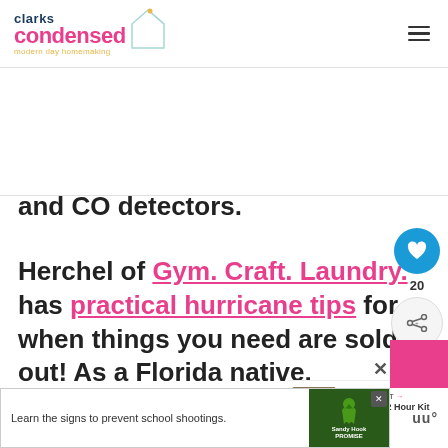clarks condensed — modern day homemaking
and CO detectors.
Herchel of Gym. Craft. Laundry. has practical hurricane tips for when things you need are sold out! As a Florida native, her prep hacks are genius!
[Figure (other): WHAT'S NEXT arrow — The Best 72 Hour Kit List...]
[Figure (other): Advertisement banner: Learn the signs to prevent school shootings. Sandy Hook Promise logo.]